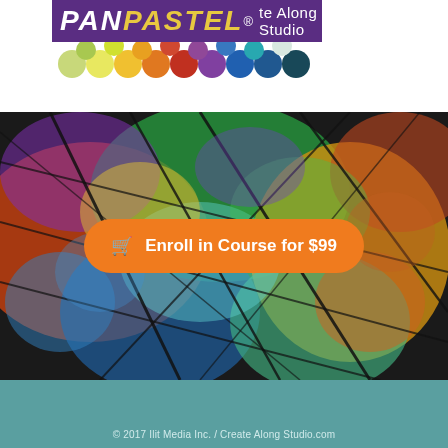[Figure (logo): PanPastel Create Along Studio logo with purple banner and colorful pastel dot swatches below]
[Figure (photo): Colorful iridescent gemstone/ammolite macro photograph with rainbow hues of green, orange, teal, yellow, purple]
Enroll in Course for $99
© 2017 Ilit Media Inc. / Create Along Studio.com